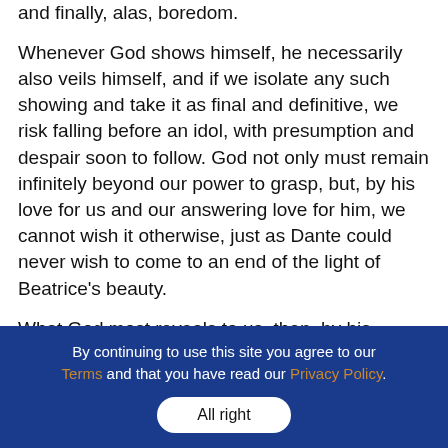and finally, alas, boredom.
Whenever God shows himself, he necessarily also veils himself, and if we isolate any such showing and take it as final and definitive, we risk falling before an idol, with presumption and despair soon to follow. God not only must remain infinitely beyond our power to grasp, but, by his love for us and our answering love for him, we cannot wish it otherwise, just as Dante could never wish to come to an end of the light of Beatrice's beauty.
What God most reveals to us, then, by his concealment, is that he wants for man the freedom and the love that joy demands. He wants to shower
By continuing to use this site you agree to our Terms and that you have read our Privacy Policy. All right